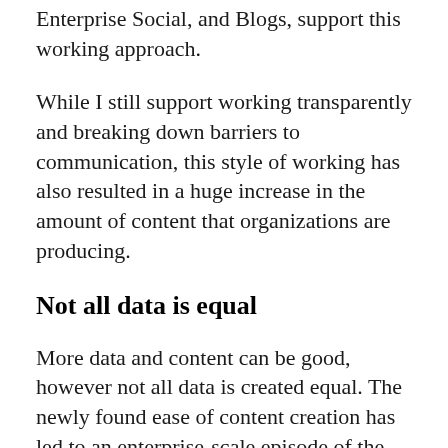Enterprise Social, and Blogs, support this working approach.
While I still support working transparently and breaking down barriers to communication, this style of working has also resulted in a huge increase in the amount of content that organizations are producing.
Not all data is equal
More data and content can be good, however not all data is created equal. The newly found ease of content creation has led to an enterprise-scale episode of the show “Hoarders”. Look beyond the pristine lobbies of most